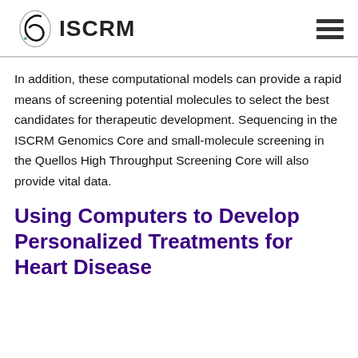ISCRM
In addition, these computational models can provide a rapid means of screening potential molecules to select the best candidates for therapeutic development. Sequencing in the ISCRM Genomics Core and small-molecule screening in the Quellos High Throughput Screening Core will also provide vital data.
Using Computers to Develop Personalized Treatments for Heart Disease